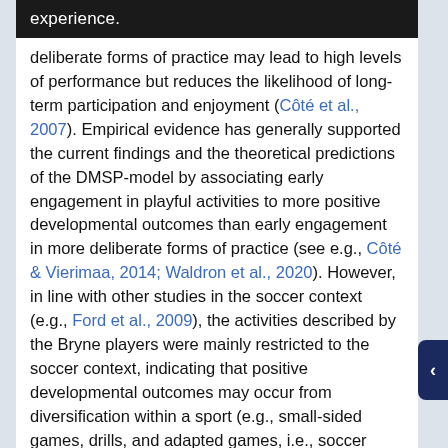deliberate forms of practice may lead to high levels of performance but reduces the likelihood of long-term participation and enjoyment (Côté et al., 2007). Empirical evidence has generally supported the current findings and the theoretical predictions of the DMSP-model by associating early engagement in playful activities to more positive developmental outcomes than early engagement in more deliberate forms of practice (see e.g., Côté & Vierimaa, 2014; Waldron et al., 2020). However, in line with other studies in the soccer context (e.g., Ford et al., 2009), the activities described by the Bryne players were mainly restricted to the soccer context, indicating that positive developmental outcomes may occur from diversification within a sport (e.g., small-sided games, drills, and adapted games, i.e., soccer tennis). Further, although the amount of organized practice was